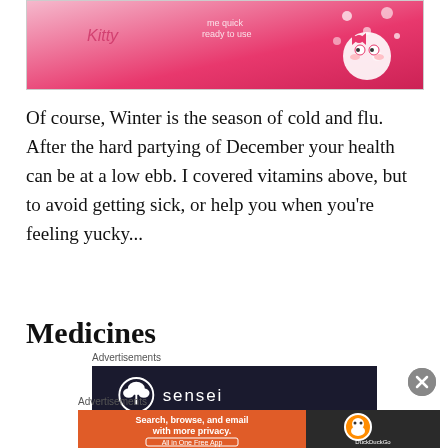[Figure (photo): Hello Kitty themed product (pink/red packaging with Hello Kitty branding) photographed close-up]
Of course, Winter is the season of cold and flu. After the hard partying of December your health can be at a low ebb. I covered vitamins above, but to avoid getting sick, or help you when you're feeling yucky...
Medicines
Advertisements
[Figure (logo): Sensei advertisement — dark background with Sensei logo (tree/bonsai icon in circle) and the word 'sensei']
Advertisements
[Figure (screenshot): DuckDuckGo advertisement — orange and dark background with text 'Search, browse, and email with more privacy. All in One Free App' and DuckDuckGo duck logo]